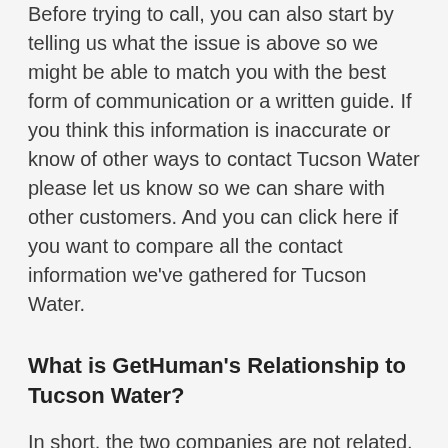Before trying to call, you can also start by telling us what the issue is above so we might be able to match you with the best form of communication or a written guide. If you think this information is inaccurate or know of other ways to contact Tucson Water please let us know so we can share with other customers. And you can click here if you want to compare all the contact information we've gathered for Tucson Water.
What is GetHuman's Relationship to Tucson Water?
In short, the two companies are not related. GetHuman builds free tools and shares information amongst customers of companies like Tucson Water. For large companies that includes tools such as our